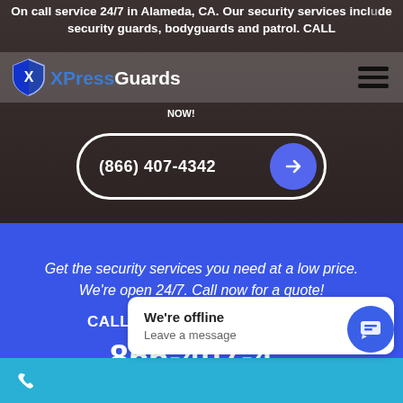On call service 24/7 in Alameda, CA. Our security services include security guards, bodyguards and patrol. CALL NOW!
[Figure (logo): XPressGuards logo with blue shield icon and text 'XPressGuards']
(866) 407-4342
Get the security services you need at a low price. We're open 24/7. Call now for a quote!
CALL NOW TO GET STARTED
866-407-4342
We're offline
Leave a message